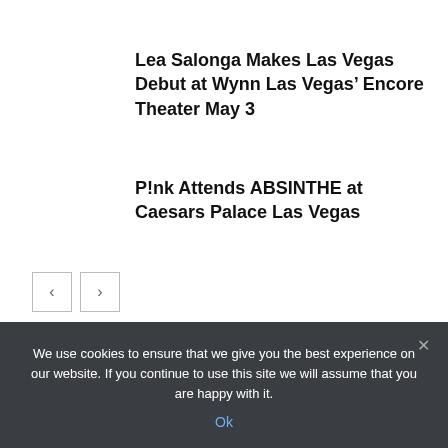Lea Salonga Makes Las Vegas Debut at Wynn Las Vegas’ Encore Theater May 3
P!nk Attends ABSINTHE at Caesars Palace Las Vegas
Social
We use cookies to ensure that we give you the best experience on our website. If you continue to use this site we will assume that you are happy with it.
Ok